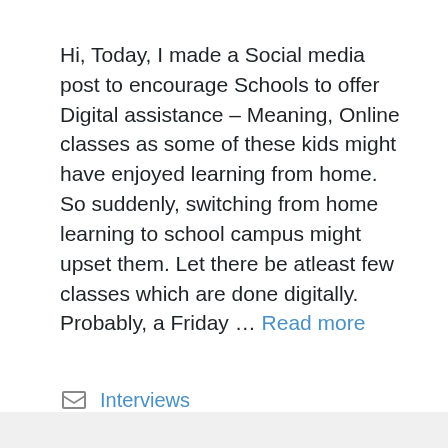Hi, Today, I made a Social media post to encourage Schools to offer Digital assistance – Meaning, Online classes as some of these kids might have enjoyed learning from home. So suddenly, switching from home learning to school campus might upset them. Let there be atleast few classes which are done digitally. Probably, a Friday … Read more
Interviews
Leave a comment